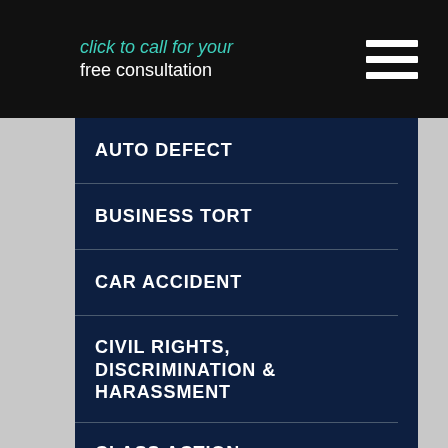click to call for your free consultation
AUTO DEFECT
BUSINESS TORT
CAR ACCIDENT
CIVIL RIGHTS, DISCRIMINATION & HARASSMENT
CLASS ACTION